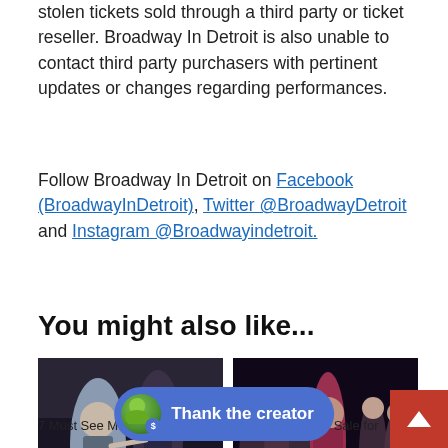stolen tickets sold through a third party or ticket reseller. Broadway In Detroit is also unable to contact third party purchasers with pertinent updates or changes regarding performances.
Follow Broadway In Detroit on Facebook (BroadwayInDetroit), Twitter @BroadwayDetroit and Instagram @Broadwayindetroit.
You might also like...
[Figure (photo): Two performers on stage in period costume, one appears to be Hamilton musical]
7 Must See Musicals
[Figure (photo): Large cast of performers on stage in colorful costumes, group ensemble shot]
Tickets Going on Sale for